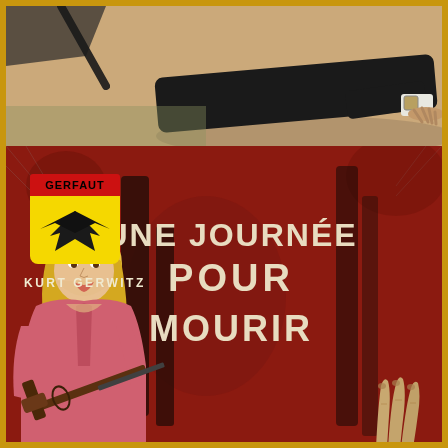[Figure (illustration): Top portion of a vintage pulp fiction book cover showing a partial illustration on beige/tan background with a person's hands and dark clothing visible, partial cropped scene]
[Figure (illustration): Bottom portion of vintage French pulp novel cover 'Une Journée Pour Mourir' by Kurt Gerwitz, published by Gerfaut. Red background with dark painted vertical shapes. Left side features Gerfaut publisher logo (yellow badge with black bird and red banner). Author name 'KURT GERWITZ' in white. Large cream/beige bold title text reading 'UNE JOURNÉE POUR MOURIR'. Center-left shows illustration of blonde woman in pink shirt holding a rifle. Bottom right shows skeletal/bony fingers emerging.]
UNE JOURNÉE POUR MOURIR
KURT GERWITZ
GERFAUT